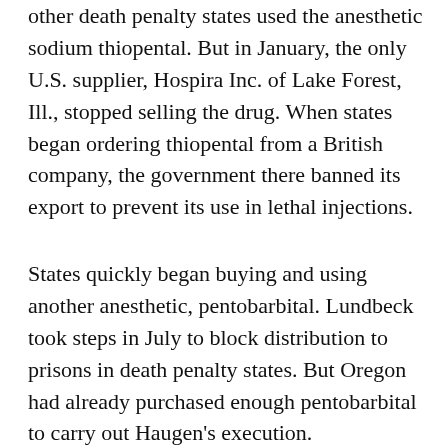other death penalty states used the anesthetic sodium thiopental. But in January, the only U.S. supplier, Hospira Inc. of Lake Forest, Ill., stopped selling the drug. When states began ordering thiopental from a British company, the government there banned its export to prevent its use in lethal injections.
States quickly began buying and using another anesthetic, pentobarbital. Lundbeck took steps in July to block distribution to prisons in death penalty states. But Oregon had already purchased enough pentobarbital to carry out Haugen's execution.